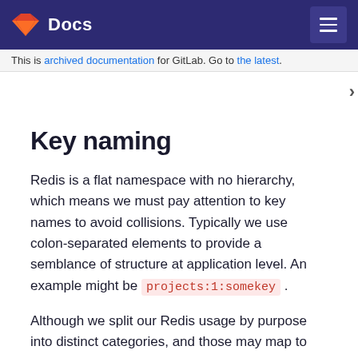Docs
This is archived documentation for GitLab. Go to the latest.
Key naming
Redis is a flat namespace with no hierarchy, which means we must pay attention to key names to avoid collisions. Typically we use colon-separated elements to provide a semblance of structure at application level. An example might be projects:1:somekey .
Although we split our Redis usage by purpose into distinct categories, and those may map to separate Redis servers in a Highly Available configuration like GitLab.com, the default Omnibus and GDK setups share a single Redis server. This means that keys should always be globally unique across all categories.